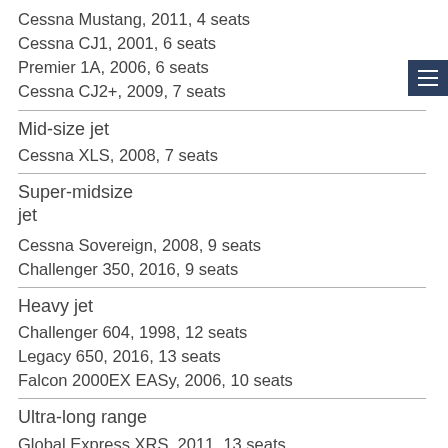Cessna Mustang, 2011, 4 seats
Cessna CJ1, 2001, 6 seats
Premier 1A, 2006, 6 seats
Cessna CJ2+, 2009, 7 seats
Mid-size jet
Cessna XLS, 2008, 7 seats
Super-midsize jet
Cessna Sovereign, 2008, 9 seats
Challenger 350, 2016, 9 seats
Heavy jet
Challenger 604, 1998, 12 seats
Legacy 650, 2016, 13 seats
Falcon 2000EX EASy, 2006, 10 seats
Ultra-long range
Global Express XRS, 2011, 13 seats
Falcon 7X, 2010, 15 seats